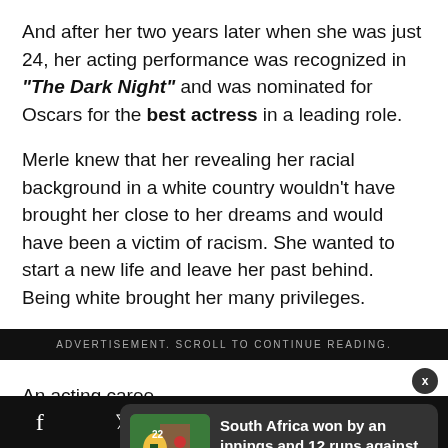And after her two years later when she was just 24, her acting performance was recognized in "The Dark Night" and was nominated for Oscars for the best actress in a leading role.
Merle knew that her revealing her racial background in a white country wouldn't have brought her close to her dreams and would have been a victim of racism. She wanted to start a new life and leave her past behind. Being white brought her many privileges.
ADVERTISEMENT. SCROLL TO CONTINUE READING.
An acting caree... only thing she d...
[Figure (screenshot): Notification card showing cricket news: South Africa won by an innings and 12 runs against - 4 hours ago, with a photo of cricket players]